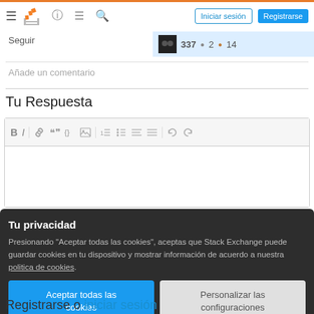Stack Exchange navigation bar with hamburger menu, logo, help, chat, search icons, Iniciar sesión and Registrarse buttons
Seguir
337 • 2 • 14
Añade un comentario
Tu Respuesta
[Figure (screenshot): Rich text editor toolbar with Bold, Italic, link, quote, code, image, ordered list, unordered list, align-left, align-justify, undo, redo icons]
Tu privacidad
Presionando "Aceptar todas las cookies", aceptas que Stack Exchange puede guardar cookies en tu dispositivo y mostrar información de acuerdo a nuestra politica de cookies.
Aceptar todas las cookies
Personalizar las configuraciones
Registrarse o iniciar sesión